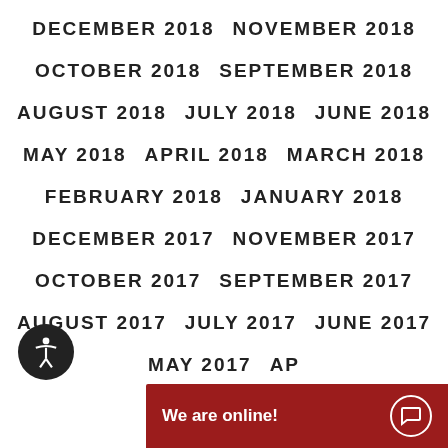DECEMBER 2018   NOVEMBER 2018
OCTOBER 2018   SEPTEMBER 2018
AUGUST 2018   JULY 2018   JUNE 2018
MAY 2018   APRIL 2018   MARCH 2018
FEBRUARY 2018   JANUARY 2018
DECEMBER 2017   NOVEMBER 2017
OCTOBER 2017   SEPTEMBER 2017
AUGUST 2017   JULY 2017   JUNE 2017
MAY 2017   AP...